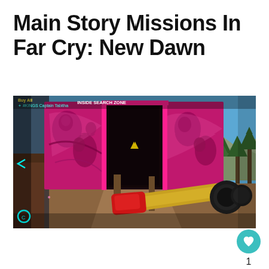Main Story Missions In Far Cry: New Dawn
[Figure (screenshot): First-person shooter gameplay screenshot from Far Cry: New Dawn. The player holds a sniper rifle with a yellow barrel and red stock. In front is a pink/magenta graffiti-covered shipping container with its doors open, leading into darkness. The environment shows a sunny outdoor area with pine trees and mountains in the background. HUD elements are visible showing player info and 'INSIDE SEARCH ZONE' text.]